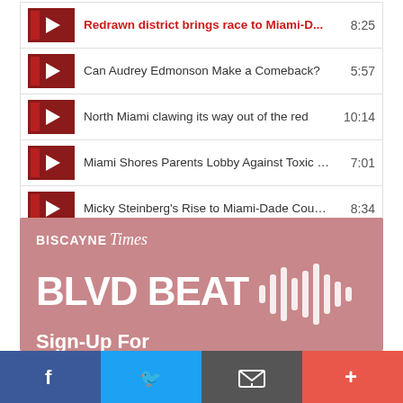Redrawn district brings race to Miami-D... 8:25
Can Audrey Edmonson Make a Comeback? 5:57
North Miami clawing its way out of the red 10:14
Miami Shores Parents Lobby Against Toxic Ch... 7:01
Micky Steinberg's Rise to Miami-Dade Count... 8:34
[Figure (infographic): Biscayne Times BLVD BEAT newsletter sign-up advertisement banner with pink/rose background and sound wave graphic]
Sign-Up For Our Newsletter
[Figure (infographic): Social media share bar with Facebook (blue), Twitter (blue), Email (dark gray), and Plus (orange-red) buttons]